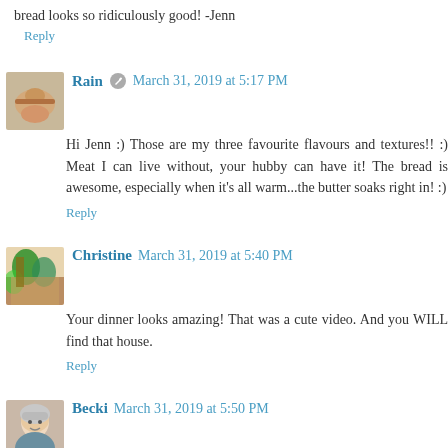bread looks so ridiculously good! -Jenn
Reply
Rain   March 31, 2019 at 5:17 PM
Hi Jenn :) Those are my three favourite flavours and textures!! :) Meat I can live without, your hubby can have it! The bread is awesome, especially when it's all warm...the butter soaks right in! :)
Reply
Christine   March 31, 2019 at 5:40 PM
Your dinner looks amazing! That was a cute video. And you WILL find that house.
Reply
Becki   March 31, 2019 at 5:50 PM
Mmmmm... your picture of your no-knead bread reminds